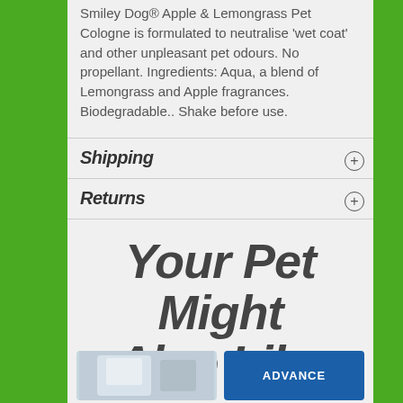Smiley Dog® Apple & Lemongrass Pet Cologne is formulated to neutralise 'wet coat' and other unpleasant pet odours. No propellant. Ingredients: Aqua, a blend of Lemongrass and Apple fragrances. Biodegradable.. Shake before use.
Shipping
Returns
Your Pet Might Also Like
[Figure (photo): Two product images at the bottom: left is a pet product with grey/white packaging, right is an Advance brand product with blue packaging]